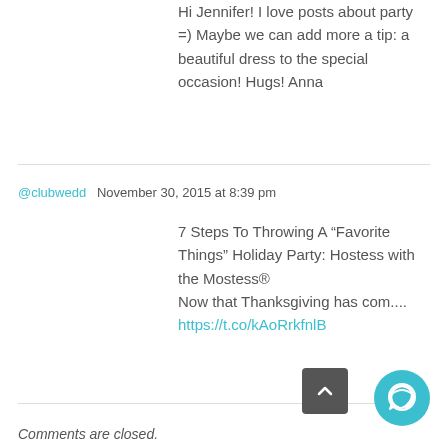Hi Jennifer! I love posts about party =) Maybe we can add more a tip: a beautiful dress to the special occasion! Hugs! Anna
@clubwedd  November 30, 2015 at 8:39 pm
7 Steps To Throwing A “Favorite Things” Holiday Party: Hostess with the Mostess®
Now that Thanksgiving has com.... https://t.co/kAoRrkfnlB
Comments are closed.